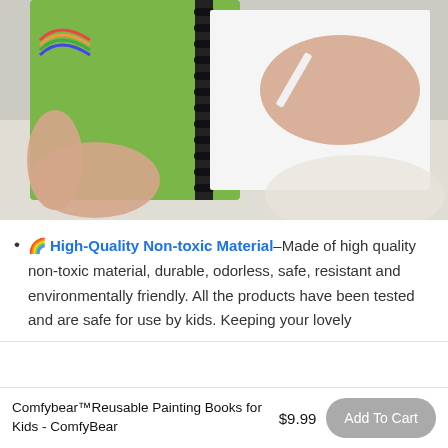[Figure (photo): Child's hands holding a spiral-bound painting/drawing book with green cover and a white pen/crayon, drawing on a white page. Rainbow image visible on the book cover.]
🌈 High-Quality Non-toxic Material–Made of high quality non-toxic material, durable, odorless, safe, resistant and environmentally friendly. All the products have been tested and are safe for use by kids. Keeping your lovely
Comfybear™Reusable Painting Books for Kids - ComfyBear
$9.99
Add To Cart